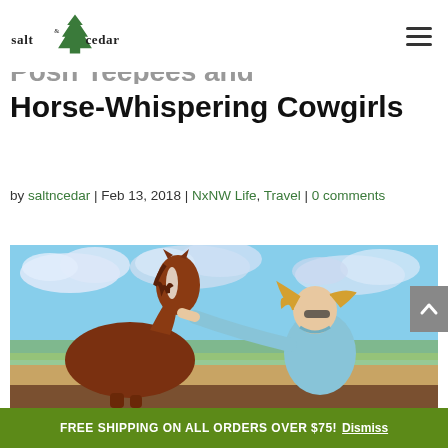salt & cedar [logo] [navigation menu icon]
Posh Teepees and Horse-Whispering Cowgirls
by saltncedar | Feb 13, 2018 | NxNW Life, Travel | 0 comments
[Figure (photo): A woman with blonde hair wearing a light blue shirt reaches out to pet a chestnut horse with a white blaze on its face, outdoors under a partly cloudy sky with green and brown prairie in the background.]
FREE SHIPPING ON ALL ORDERS OVER $75! Dismiss